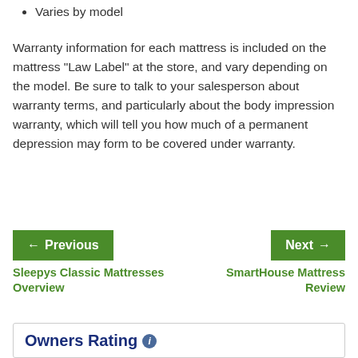Varies by model
Warranty information for each mattress is included on the mattress "Law Label" at the store, and vary depending on the model. Be sure to talk to your salesperson about warranty terms, and particularly about the body impression warranty, which will tell you how much of a permanent depression may form to be covered under warranty.
← Previous | Next →
Sleepys Classic Mattresses Overview
SmartHouse Mattress Review
Owners Rating ℹ